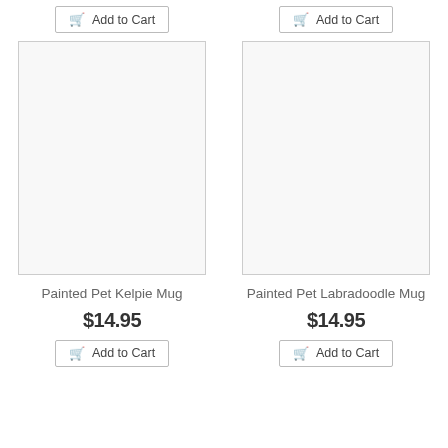[Figure (other): Add to Cart button for product in left column (top)]
[Figure (other): Add to Cart button for product in right column (top)]
[Figure (photo): Product image placeholder for Painted Pet Kelpie Mug (blank white box)]
[Figure (photo): Product image placeholder for Painted Pet Labradoodle Mug (blank white box)]
Painted Pet Kelpie Mug
$14.95
Painted Pet Labradoodle Mug
$14.95
[Figure (other): Add to Cart button for Painted Pet Kelpie Mug (bottom)]
[Figure (other): Add to Cart button for Painted Pet Labradoodle Mug (bottom)]